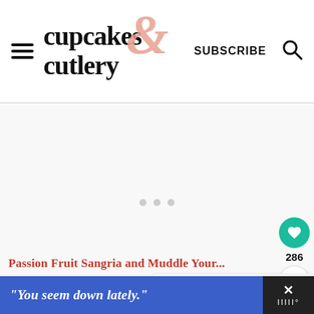[Figure (logo): Cupcakes and Cutlery website logo with hamburger menu, stylized ampersand in pink, Subscribe button, and search icon]
[Figure (other): Loading/blank content area with three gray dots indicating loading state]
[Figure (other): Teal heart favorite button showing 286 saves, and a share button below it]
[Figure (other): What's Next panel showing Watermelon Vodka Cockt... thumbnail and label]
Passion Fruit Sangria and Muddle Your...
"You seem down lately."